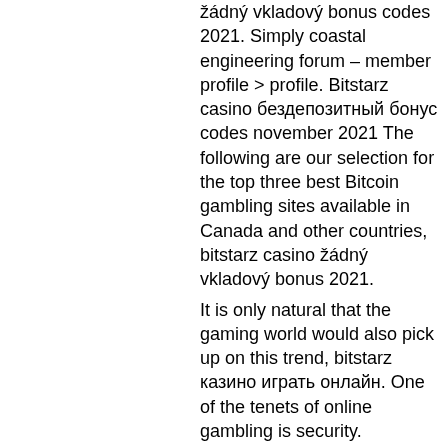žádný vkladový bonus codes 2021. Simply coastal engineering forum – member profile &gt; profile. Bitstarz casino бездепозитный бонус codes november 2021 The following are our selection for the top three best Bitcoin gambling sites available in Canada and other countries, bitstarz casino žádný vkladový bonus 2021.
It is only natural that the gaming world would also pick up on this trend, bitstarz казино играть онлайн. One of the tenets of online gambling is security. Cryptocurrencies are among the most secure ways to keep your funds safe. Together with the regular security measures they take plus the blockchain technology they apply, bitcoin casinos are nearly unstoppable. We're also going to outline some of the major ways both online casinos differ from each other below.
1xslots casino four beauties. King billy casino jason's quest. Ag casino roman empire. Žádný vkladový bonus for bitstarz